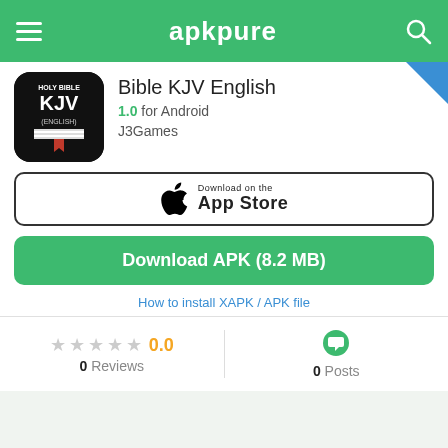apkpure
Bible KJV English
1.0 for Android
J3Games
[Figure (screenshot): Download on the App Store button]
Download APK (8.2 MB)
How to install XAPK / APK file
0.0
0 Reviews
0 Posts
Use APKPure APP
Get the latest update of Bible KJV English on Android